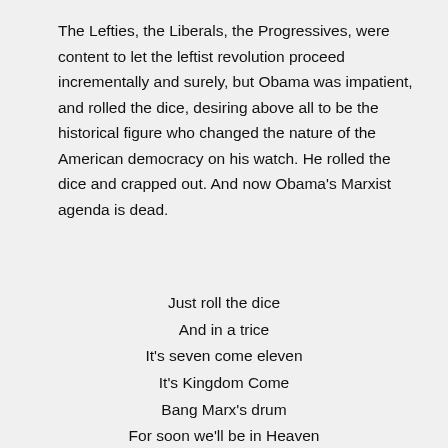The Lefties, the Liberals, the Progressives, were content to let the leftist revolution proceed incrementally and surely, but Obama was impatient, and rolled the dice, desiring above all to be the historical figure who changed the nature of the American democracy on his watch. He rolled the dice and crapped out. And now Obama's Marxist agenda is dead.
Just roll the dice
And in a trice
It's seven come eleven
It's Kingdom Come
Bang Marx's drum
For soon we'll be in Heaven
Where all are free
And liberty
Is there for just the taking
And government